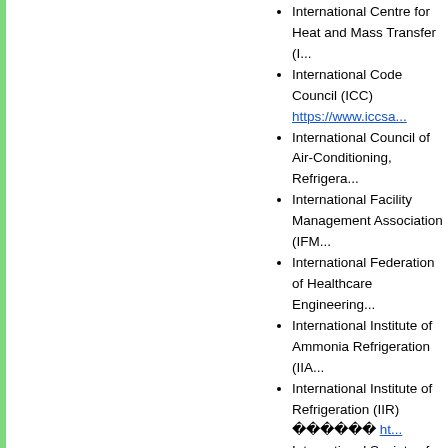International Centre for Heat and Mass Transfer (I...
International Code Council (ICC) https://www.iccsa...
International Council of Air-Conditioning, Refrigera...
International Facility Management Association (IFM...
International Federation of Healthcare Engineering...
International Institute of Ammonia Refrigeration (IIA...
International Institute of Refrigeration (IIR) [chars] ht...
International Society of Energy and Built Environm...
International Society of Indoor Air Quality and Clim...
International Society of the Built Environment (ISB...
Lanka Association of Building Services Engineers ...
National Fire Protection Association (NFPA) http://...
New Zealand Institute of Health Estate and Engine...
Pacific Asia Lift & Escalator Association (PALEA) h...
Royal Institution of Chartered Surveyors (RICS) [chars]...
RICS Asia http://www.ricsasia.org/
RICS Hong Kong http://www.ricsasia.org/we...
Singapore Lift & Escalator Contractors & Manufactu...
Society of Building Science Educators (SBSE) http...
Society of Fire Protection Engineers (SFPE) http://...
Society of Operations Engineers, UK [chars] https://...
World Federation of Engineering Organisations (W...
Building & Construction
Architects